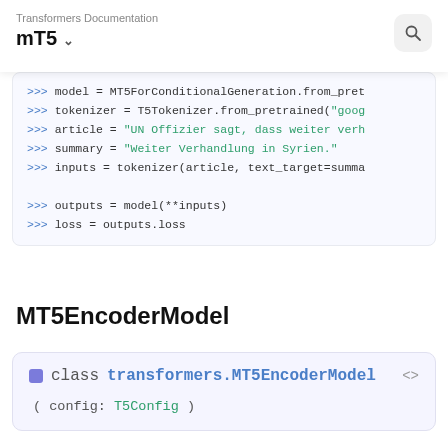Transformers Documentation
mT5 ↓
>>> model = MT5ForConditionalGeneration.from_pret
>>> tokenizer = T5Tokenizer.from_pretrained("goog
>>> article = "UN Offizier sagt, dass weiter verh
>>> summary = "Weiter Verhandlung in Syrien."
>>> inputs = tokenizer(article, text_target=summa

>>> outputs = model(**inputs)
>>> loss = outputs.loss
MT5EncoderModel
class transformers.MT5EncoderModel
( config: T5Config )